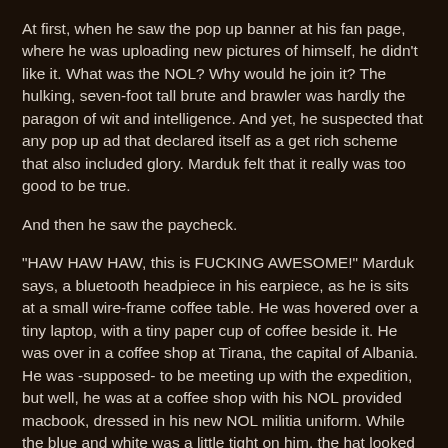At first, when he saw the pop up banner at his fan page, where he was uploading new pictures of himself, he didn't like it. What was the NOL? Why would he join it? The hulking, seven-foot tall brute and brawler was hardly the paragon of wit and intelligence. And yet, he suspected that any pop up ad that declared itself as a get rich scheme that also included glory. Marduk felt that it really was too good to be true.
And then he saw the paycheck.
"HAW HAW HAW, this is FUCKING AWESOME!" Marduk says, a bluetooth headpiece in his earpiece, as he is sits at a small wire-frame coffee table. He was hovered over a tiny laptop, with a tiny paper cup of coffee beside it. He was over in a coffee shop at Tirana, the capital of Albania. He was -supposed- to be meeting up with the expedition, but well, he was at a coffee shop with his NOL provided macbook, dressed in his new NOL militia uniform. While the blue and white was a little tight on him, the hat looked great, as well as the rank of Private E-1. Normally, it wasn't appropriate to be